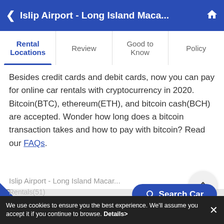Islip Airport - Long Island Maca...
Rental Locations | Review | Good to Know | Policy
Besides credit cards and debit cards, now you can pay for online car rentals with cryptocurrency in 2020. Bitcoin(BTC), ethereum(ETH), and bitcoin cash(BCH) are accepted. Wonder how long does a bitcoin transaction takes and how to pay with bitcoin? Read our FAQs.
Related Searches
Islip Airport - Long Island Macar...
Rentals(51)
Search Car
We use cookies to ensure you the best experience. We'll assume you accept it if you continue to browse. Details>